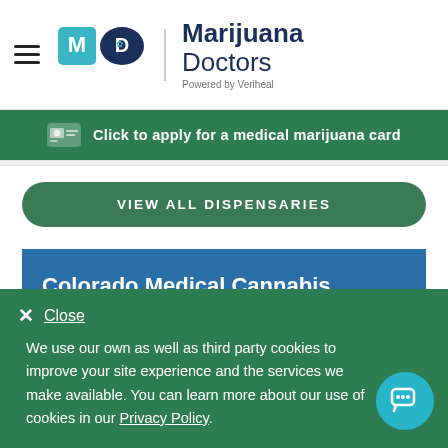Marijuana Doctors — Powered by Veriheal
Click to apply for a medical marijuana card
VIEW ALL DISPENSARIES
Colorado Medical Cannabis Program Details For Patients
Close
We use our own as well as third party cookies to improve your site experience and the services we make available. You can learn more about our use of cookies in our Privacy Policy.